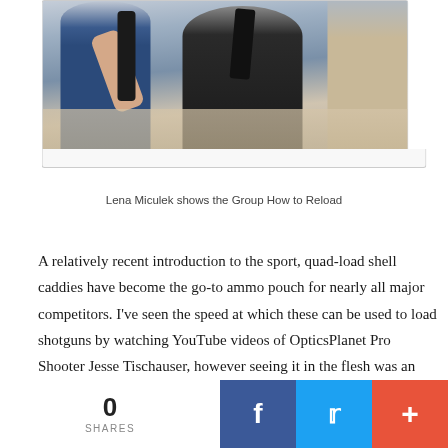[Figure (photo): Photo of people at a shooting range, one person in a blue shirt holding a firearm demonstrating technique to a group]
Lena Miculek shows the Group How to Reload
A relatively recent introduction to the sport, quad-load shell caddies have become the go-to ammo pouch for nearly all major competitors. I've seen the speed at which these can be used to load shotguns by watching YouTube videos of OpticsPlanet Pro Shooter Jesse Tischauser, however seeing it in the flesh was an entirely different experience. The stance, the flip of the gun, the grip on the shells, the placement of your thumb – it's all an
0 SHARES  f  (twitter bird)  +